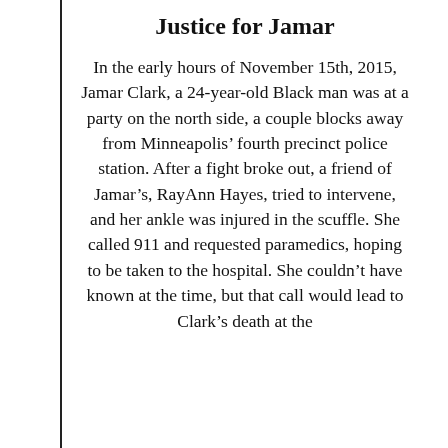Justice for Jamar
In the early hours of November 15th, 2015, Jamar Clark, a 24-year-old Black man was at a party on the north side, a couple blocks away from Minneapolis’ fourth precinct police station. After a fight broke out, a friend of Jamar’s, RayAnn Hayes, tried to intervene, and her ankle was injured in the scuffle. She called 911 and requested paramedics, hoping to be taken to the hospital. She couldn’t have known at the time, but that call would lead to Clark’s death at the